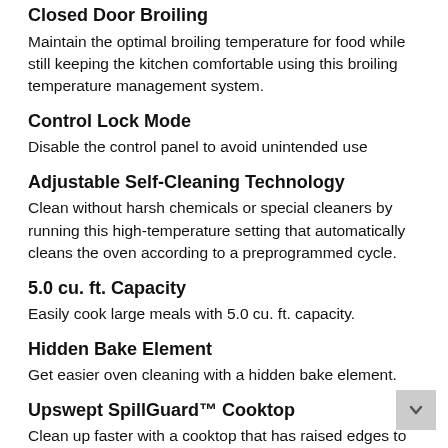Closed Door Broiling
Maintain the optimal broiling temperature for food while still keeping the kitchen comfortable using this broiling temperature management system.
Control Lock Mode
Disable the control panel to avoid unintended use
Adjustable Self-Cleaning Technology
Clean without harsh chemicals or special cleaners by running this high-temperature setting that automatically cleans the oven according to a preprogrammed cycle.
5.0 cu. ft. Capacity
Easily cook large meals with 5.0 cu. ft. capacity.
Hidden Bake Element
Get easier oven cleaning with a hidden bake element.
Upswept SpillGuard™ Cooktop
Clean up faster with a cooktop that has raised edges to help contain spills.
An American company for over 100 years